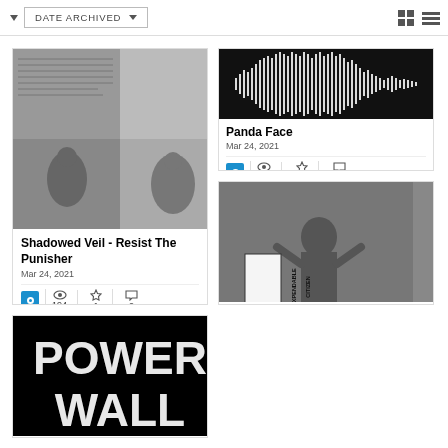DATE ARCHIVED
[Figure (screenshot): Waveform audio thumbnail for Panda Face, dark background with white waveform visualization]
Panda Face
Mar 24, 2021
19 views, 0 favorites, 0 comments
[Figure (photo): Black and white photo collage for Shadowed Veil - Resist The Punisher]
Shadowed Veil - Resist The Punisher
Mar 24, 2021
194 views, 1 favorite, 0 comments
[Figure (photo): Black and white photo of person with Expendable Citizen text]
Expendable Citizen
[Figure (photo): Black and white image with POWER WALL text in large bold letters]
Power Wall